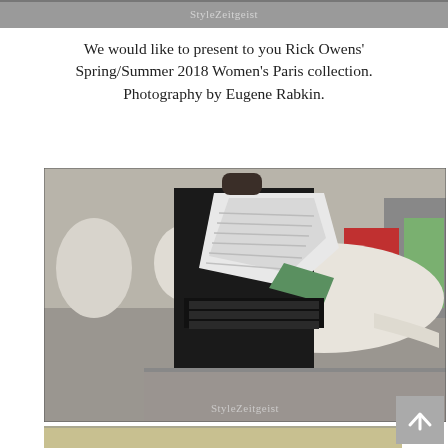[Figure (photo): Partial top strip of a fashion photo showing a model at what appears to be a Paris fashion show venue with a StyleZeitgeist watermark]
We would like to present to you Rick Owens' Spring/Summer 2018 Women's Paris collection. Photography by Eugene Rabkin.
[Figure (photo): Fashion photography by Eugene Rabkin showing a model in a black dress with white geometric/architectural bodice detail at Rick Owens' Spring/Summer 2018 Women's Paris collection show. White classical sculptures and audience members visible in background. StyleZeitgeist watermark at bottom.]
We would like to present to you Rick Owens' Spring/Summer 2018 Women's Paris collection. Photography by Eugene Rabkin.
[Figure (photo): Partial bottom strip of another fashion photo from the same collection]